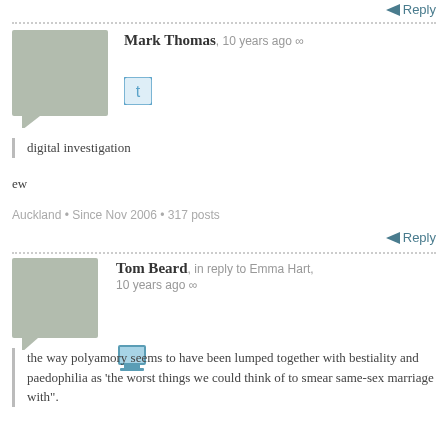Reply
Mark Thomas, 10 years ago ∞
digital investigation
ew
Auckland • Since Nov 2006 • 317 posts
Reply
Tom Beard, in reply to Emma Hart, 10 years ago ∞
the way polyamory seems to have been lumped together with bestiality and paedophilia as 'the worst things we could think of to smear same-sex marriage with".
And incest. And Muslims.
Wellington • Since Nov 2006 • 1040 posts
Reply